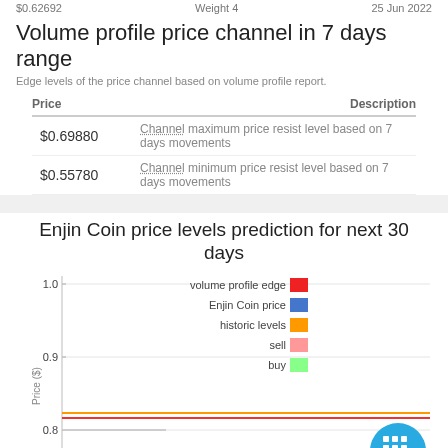$0.62692   Weight 4   25 Jun 2022
Volume profile price channel in 7 days range
Edge levels of the price channel based on volume profile report.
| Price | Description |
| --- | --- |
| $0.69880 | Channel maximum price resist level based on 7 days movements |
| $0.55780 | Channel minimum price resist level based on 7 days movements |
Enjin Coin price levels prediction for next 30 days
[Figure (line-chart): Line chart showing Enjin Coin price levels prediction for next 30 days with y-axis from ~0.75 to 1.0, containing series for volume profile edge (red), Enjin Coin price (blue), historic levels (orange), sell (pink), buy (green). Two horizontal lines visible near bottom of chart around 0.75-0.77.]